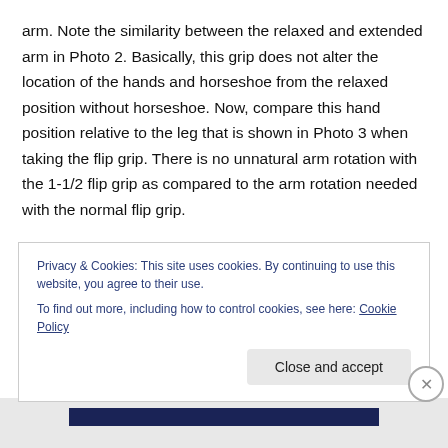arm. Note the similarity between the relaxed and extended arm in Photo 2. Basically, this grip does not alter the location of the hands and horseshoe from the relaxed position without horseshoe. Now, compare this hand position relative to the leg that is shown in Photo 3 when taking the flip grip. There is no unnatural arm rotation with the 1-1/2 flip grip as compared to the arm rotation needed with the normal flip grip.
In Photo 4, I am gripping the Patriot. The Patriot has neutral hook caulks which are symmetrical on both sides. I
Privacy & Cookies: This site uses cookies. By continuing to use this website, you agree to their use.
To find out more, including how to control cookies, see here: Cookie Policy